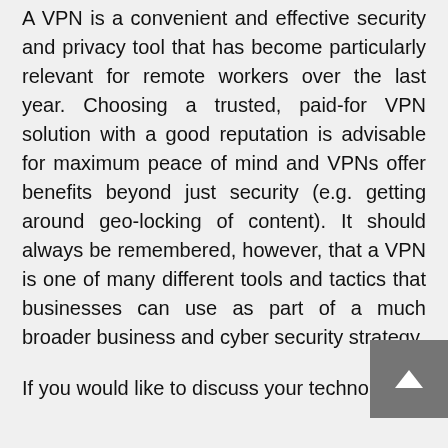A VPN is a convenient and effective security and privacy tool that has become particularly relevant for remote workers over the last year. Choosing a trusted, paid-for VPN solution with a good reputation is advisable for maximum peace of mind and VPNs offer benefits beyond just security (e.g. getting around geo-locking of content). It should always be remembered, however, that a VPN is one of many different tools and tactics that businesses can use as part of a much broader business and cyber security strategy.
If you would like to discuss your technology